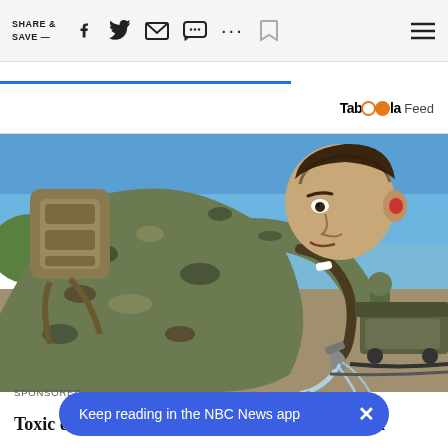SHARE & SAVE —
[Figure (screenshot): Website toolbar with share icons: Facebook, Twitter, email, chat, more options, bookmark, and hamburger menu]
[Figure (photo): A military service member in camouflage uniform drinking water from a hose outdoors near a waterfront, with military vehicles in the background on a sunny day]
SPONSORED
Toxic drinking water at Camp Lejeune poisoned
Keep reading in the NBC News app